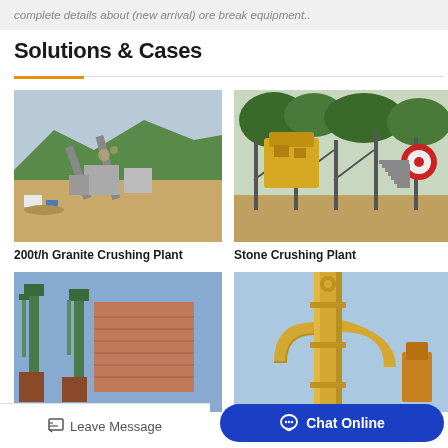complete details about (new arrival) ore break equipment..
Solutions & Cases
[Figure (photo): Aerial view of a 200t/h granite crushing plant with conveyors and machinery on hillside]
200t/h Granite Crushing Plant
[Figure (photo): Stone crushing plant with yellow jaw crusher and industrial equipment outdoors]
Stone Crushing Plant
[Figure (photo): Industrial plant with green cranes or vertical equipment near brick building]
[Figure (photo): Industrial yellow piping and machinery equipment]
Leave Message
Chat Online